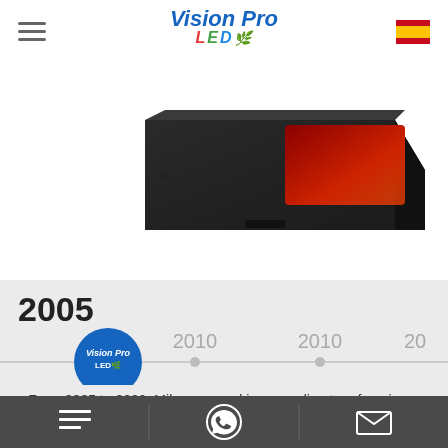Vision Pro LED
[Figure (photo): Partial view of a dark electronic device, likely an LED controller or display unit, on white background]
2005
[Figure (infographic): Horizontal timeline showing years 2005, 2010, 2010, and more, with Vision Pro LED logo circle at 2005 position and dots at other years]
From 2005 to 2009, Mike was working as a director of engineer team in a factory which producing LED single color
Navigation icons: menu, WhatsApp, email